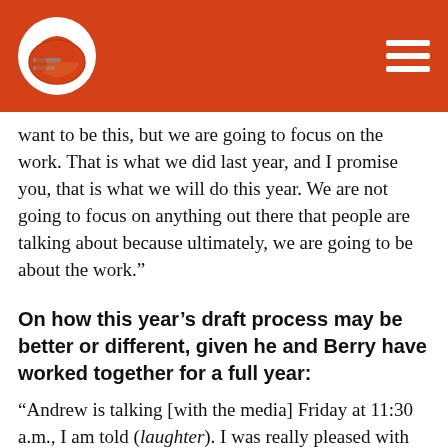[Figure (logo): Cleveland Browns helmet logo in orange circle on orange header bar with hamburger menu icon on the right]
want to be this, but we are going to focus on the work. That is what we did last year, and I promise you, that is what we will do this year. We are not going to focus on anything out there that people are talking about because ultimately, we are going to be about the work.”
On how this year’s draft process may be better or different, given he and Berry have worked together for a full year:
“Andrew is talking [with the media] Friday at 11:30 a.m., I am told (laughter). I was really pleased with the communication that we had, even last year as we were in different states and different locations, and with the communication we were able to have. We want that collaborative spirit to constantly be a part of what we